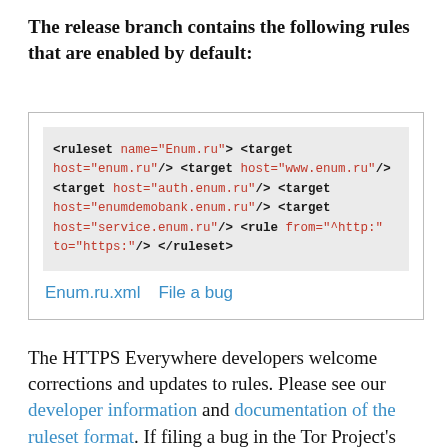The release branch contains the following rules that are enabled by default:
<ruleset name="Enum.ru">
        <target host="enum.ru"/>
        <target host="www.enum.ru"/>
        <target host="auth.enum.ru"/>
        <target host="enumdemobank.enum.ru"/>
        <target host="service.enum.ru"/>

        <rule from="^http:" to="https:"/>
</ruleset>
Enum.ru.xml   File a bug
The HTTPS Everywhere developers welcome corrections and updates to rules. Please see our developer information and documentation of the ruleset format. If filing a bug in the Tor Project's Trac bug tracker, you can use the